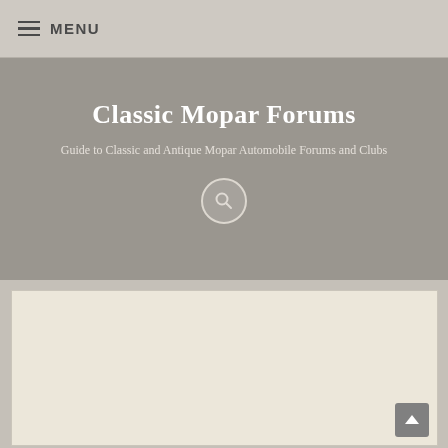MENU
Classic Mopar Forums
Guide to Classic and Antique Mopar Automobile Forums and Clubs
[Figure (screenshot): Blank cream/beige content area with a back-to-top arrow button in the bottom right corner]